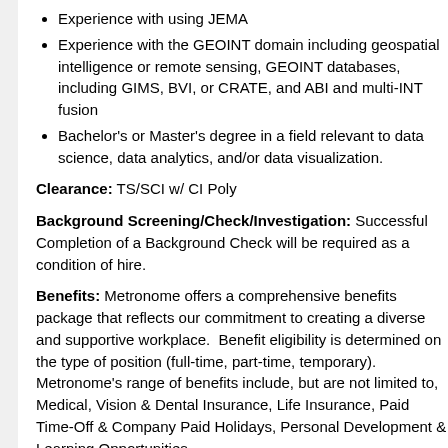Experience with using JEMA
Experience with the GEOINT domain including geospatial intelligence or remote sensing, GEOINT databases, including GIMS, BVI, or CRATE, and ABI and multi-INT fusion
Bachelor's or Master's degree in a field relevant to data science, data analytics, and/or data visualization.
Clearance: TS/SCI w/ CI Poly
Background Screening/Check/Investigation: Successful Completion of a Background Check will be required as a condition of hire.
Benefits: Metronome offers a comprehensive benefits package that reflects our commitment to creating a diverse and supportive workplace.  Benefit eligibility is determined on the type of position (full-time, part-time, temporary). Metronome's range of benefits include, but are not limited to, Medical, Vision & Dental Insurance, Life Insurance, Paid Time-Off & Company Paid Holidays, Personal Development & Learning Opportunities.
Application Process: Please follow all instructions carefully. Errors or omissions may affect your consideration for